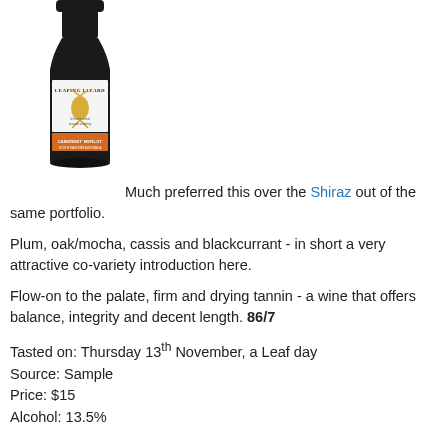[Figure (photo): A bottle of Leaping Lizard wine with a dark bottle, white label showing a leaping lizard logo, and an orange lower label band.]
Much preferred this over the Shiraz out of the same portfolio.
Plum, oak/mocha, cassis and blackcurrant - in short a very attractive co-variety introduction here.
Flow-on to the palate, firm and drying tannin - a wine that offers balance, integrity and decent length. 86/7
Tasted on: Thursday 13th November, a Leaf day
Source: Sample
Price: $15
Alcohol: 13.5%